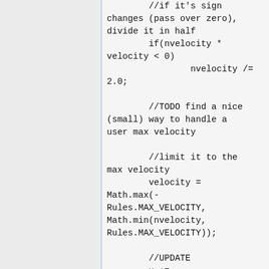//if it's sign changes (pass over zero), divide it in half
        if(nvelocity * velocity < 0)
                nvelocity /= 2.0;

        //TODO find a nice (small) way to handle a user max velocity

        //limit it to the max velocity
        velocity = Math.max(-Rules.MAX_VELOCITY, Math.min(nvelocity, Rules.MAX_VELOCITY));

        //UPDATE
        x += Math.sin(heading) * velocity;
        y +=